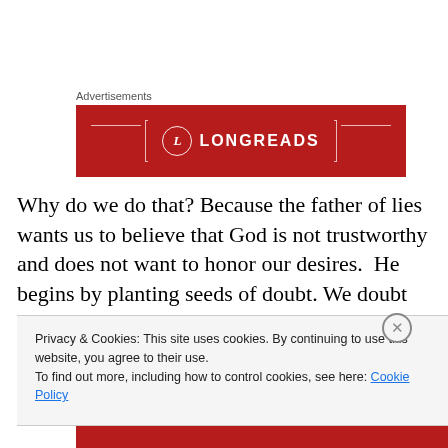Advertisements
[Figure (logo): Longreads advertisement banner with red background, circular L logo, and LONGREADS text in white with decorative bracket lines]
Why do we do that? Because the father of lies wants us to believe that God is not trustworthy and does not want to honor our desires.  He begins by planting seeds of doubt.  We doubt that God loves us, doubt that He desires to
Privacy & Cookies: This site uses cookies. By continuing to use this website, you agree to their use.
To find out more, including how to control cookies, see here: Cookie Policy
[Figure (other): Close button circle with X]
Close and accept